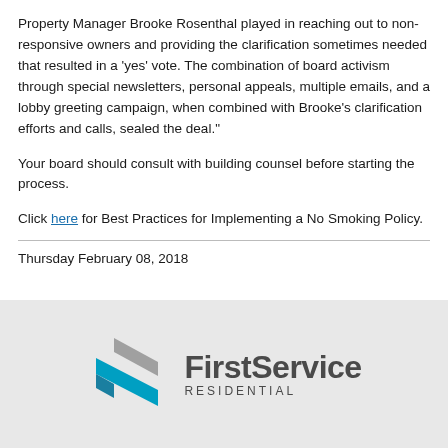Property Manager Brooke Rosenthal played in reaching out to non-responsive owners and providing the clarification sometimes needed that resulted in a 'yes' vote. The combination of board activism through special newsletters, personal appeals, multiple emails, and a lobby greeting campaign, when combined with Brooke's clarification efforts and calls, sealed the deal."
Your board should consult with building counsel before starting the process.
Click here for Best Practices for Implementing a No Smoking Policy.
Thursday February 08, 2018
[Figure (logo): FirstService Residential logo with blue and grey arrow/chevron graphic on the left and 'FirstService RESIDENTIAL' text on the right]